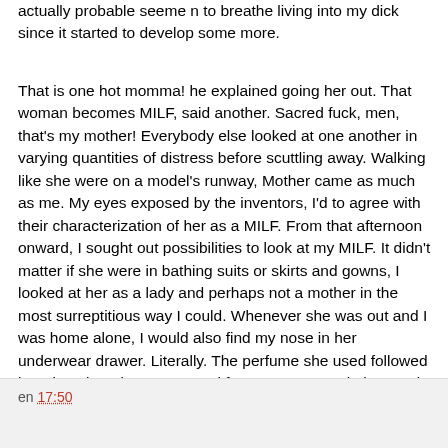actually probable seeme n to breathe living into my dick since it started to develop some more.
That is one hot momma! he explained going her out. That woman becomes MILF, said another. Sacred fuck, men, that's my mother! Everybody else looked at one another in varying quantities of distress before scuttling away. Walking like she were on a model's runway, Mother came as much as me. My eyes exposed by the inventors, I'd to agree with their characterization of her as a MILF. From that afternoon onward, I sought out possibilities to look at my MILF. It didn't matter if she were in bathing suits or skirts and gowns, I looked at her as a lady and perhaps not a mother in the most surreptitious way I could. Whenever she was out and I was home alone, I would also find my nose in her underwear drawer. Literally. The perfume she used followed her clean laundry. Her normal fragrance, or musk, honored her applied lingerie in the garments hamper.
en 17:50
Compartir